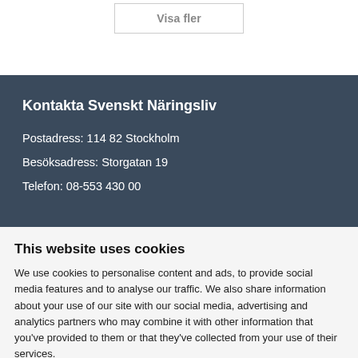Visa fler
Kontakta Svenskt Näringsliv
Postadress: 114 82 Stockholm
Besöksadress: Storgatan 19
Telefon: 08-553 430 00
This website uses cookies
We use cookies to personalise content and ads, to provide social media features and to analyse our traffic. We also share information about your use of our site with our social media, advertising and analytics partners who may combine it with other information that you've provided to them or that they've collected from your use of their services.
Use necessary cookies only
Allow all cookies
Show details